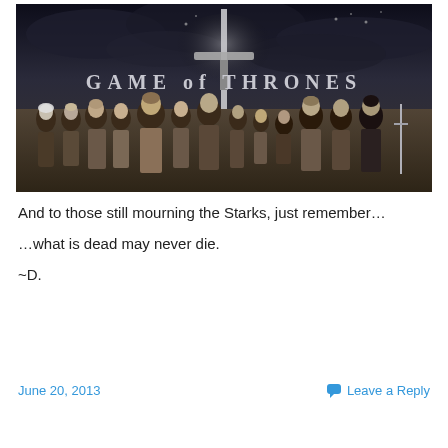[Figure (photo): Game of Thrones promotional poster showing multiple characters in medieval fantasy costumes against a dark stormy sky, with a large sword in the center and the text 'GAME OF THRONES' across the top.]
And to those still mourning the Starks, just remember…
…what is dead may never die.
~D.
June 20, 2013   Leave a Reply